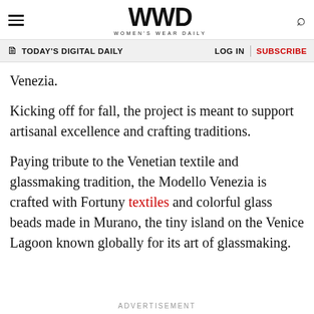WWD — Women's Wear Daily
TODAY'S DIGITAL DAILY | LOG IN | SUBSCRIBE
Venezia.
Kicking off for fall, the project is meant to support artisanal excellence and crafting traditions.
Paying tribute to the Venetian textile and glassmaking tradition, the Modello Venezia is crafted with Fortuny textiles and colorful glass beads made in Murano, the tiny island on the Venice Lagoon known globally for its art of glassmaking.
ADVERTISEMENT